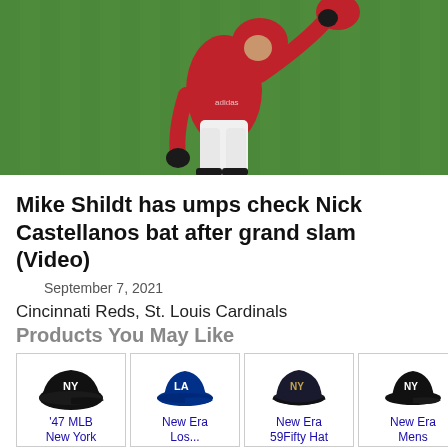[Figure (photo): Baseball player in red uniform on green field, umpire visible in background]
Mike Shildt has umps check Nick Castellanos bat after grand slam (Video)
September 7, 2021
Cincinnati Reds, St. Louis Cardinals
Products You May Like
[Figure (photo): '47 MLB New York Yankees hat product image]
'47 MLB New York
[Figure (photo): New Era Los Angeles Dodgers hat product image]
New Era Los...
[Figure (photo): New Era 59Fifty Hat product image]
New Era 59Fifty Hat
[Figure (photo): New Era Mens hat product image]
New Era Mens